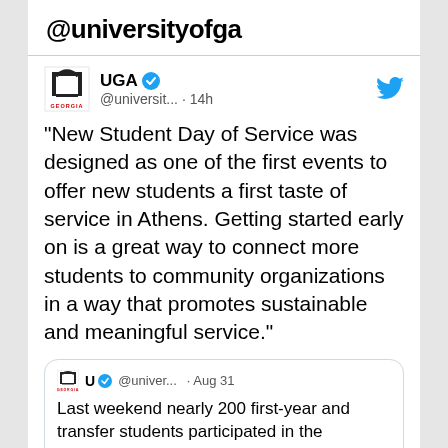@universityofga
[Figure (screenshot): UGA Twitter/X profile post showing UGA verified account (@universit... · 14h) with tweet text about New Student Day of Service, and a quoted tweet from @univer... on Aug 31 about last weekend's inaugural New Student Day of Service event.]
“New Student Day of Service was designed as one of the first events to offer new students a first taste of service in Athens. Getting started early on is a great way to connect more students to community organizations in a way that promotes sustainable and meaningful service.”
Last weekend nearly 200 first-year and transfer students participated in the inaugural “New Student Day of Service”– a spinoff of ...